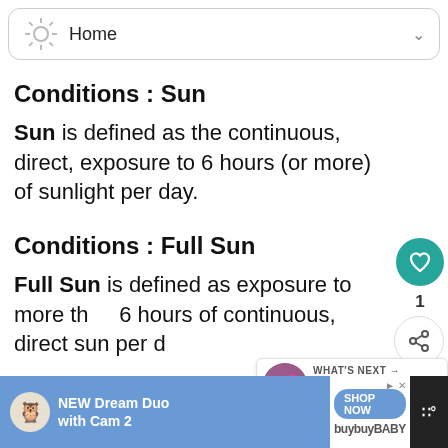Home
Conditions : Sun
Sun is defined as the continuous, direct, exposure to 6 hours (or more) of sunlight per day.
Conditions : Full Sun
Full Sun is defined as exposure to more than 6 hours of continuous, direct sun per day.
Watering
[Figure (screenshot): Ad banner for buybuyBABY NEW Dream Duo with Cam 2]